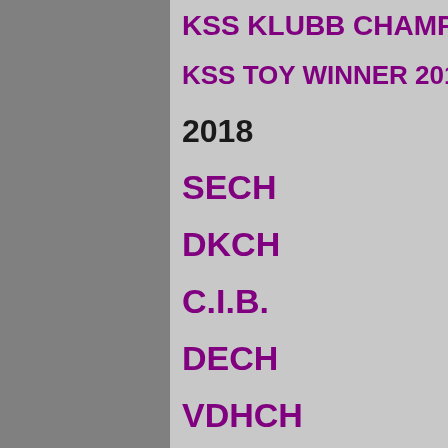KSS KLUBB CHAMPIO
KSS TOY WINNER 2017
2018
SECH
DKCH
C.I.B.
DECH
VDHCH